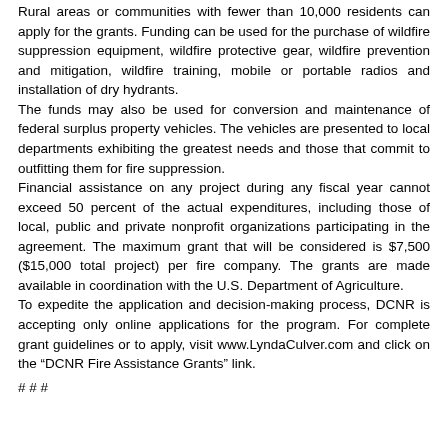Rural areas or communities with fewer than 10,000 residents can apply for the grants. Funding can be used for the purchase of wildfire suppression equipment, wildfire protective gear, wildfire prevention and mitigation, wildfire training, mobile or portable radios and installation of dry hydrants.
The funds may also be used for conversion and maintenance of federal surplus property vehicles. The vehicles are presented to local departments exhibiting the greatest needs and those that commit to outfitting them for fire suppression.
Financial assistance on any project during any fiscal year cannot exceed 50 percent of the actual expenditures, including those of local, public and private nonprofit organizations participating in the agreement. The maximum grant that will be considered is $7,500 ($15,000 total project) per fire company. The grants are made available in coordination with the U.S. Department of Agriculture.
To expedite the application and decision-making process, DCNR is accepting only online applications for the program. For complete grant guidelines or to apply, visit www.LyndaCulver.com and click on the "DCNR Fire Assistance Grants" link.
# # #